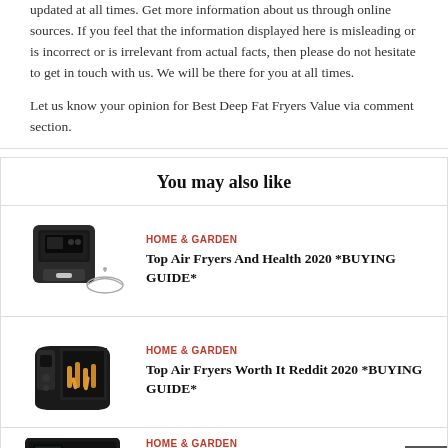updated at all times. Get more information about us through online sources. If you feel that the information displayed here is misleading or is incorrect or is irrelevant from actual facts, then please do not hesitate to get in touch with us. We will be there for you at all times.
Let us know your opinion for Best Deep Fat Fryers Value via comment section.
You may also like
HOME & GARDEN
Top Air Fryers And Health 2020 *BUYING GUIDE*
HOME & GARDEN
Top Air Fryers Worth It Reddit 2020 *BUYING GUIDE*
HOME & GARDEN